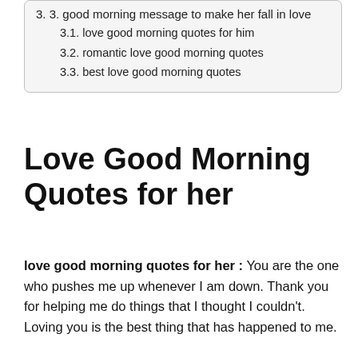3. 3. good morning message to make her fall in love
3.1. love good morning quotes for him
3.2. romantic love good morning quotes
3.3. best love good morning quotes
Love Good Morning Quotes for her
love good morning quotes for her : You are the one who pushes me up whenever I am down. Thank you for helping me do things that I thought I couldn't. Loving you is the best thing that has happened to me.